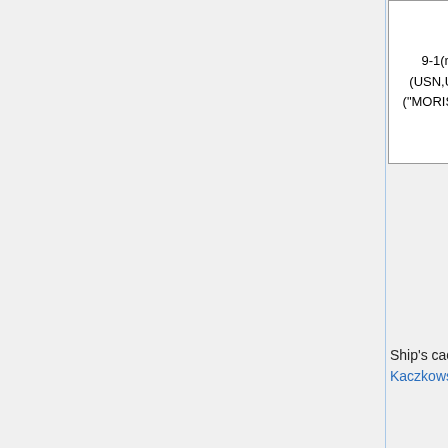| Type | Date | Image |
| --- | --- | --- |
| 9-1(n+) (USN,USS) ("MORISON") | 2001-02-26 | [cachet image] |
Ship's cachet, from the Thad Kaczkowski collection.
| Type | Date | Image |
| --- | --- | --- |
| Locy Type 11-1(n+) (USN,USS) ("MORISON") | 2001-02-26 | [cachet image FEB 2...] |